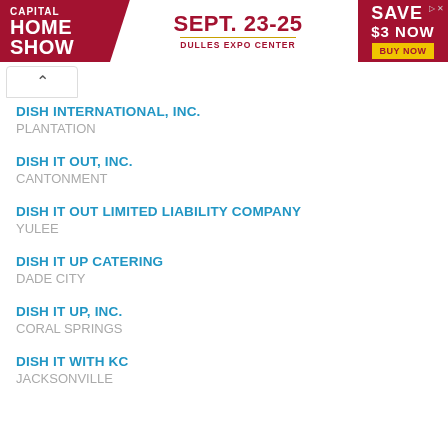[Figure (other): Advertisement banner for Capital Home Show, Sept. 23-25, Dulles Expo Center, Save $3 Now, Buy Now]
DISH INTERNATIONAL, INC.
PLANTATION
DISH IT OUT, INC.
CANTONMENT
DISH IT OUT LIMITED LIABILITY COMPANY
Yulee
DISH IT UP CATERING
DADE CITY
DISH IT UP, INC.
CORAL SPRINGS
DISH IT WITH KC
JACKSONVILLE